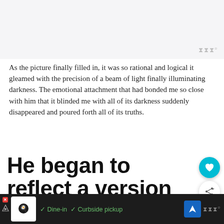[Figure (screenshot): Top light gray image placeholder area with a wordmark logo in top-right corner]
As the picture finally filled in, it was so rational and logical it gleamed with the precision of a beam of light finally illuminating darkness. The emotional attachment that had bonded me so close with him that it blinded me with all of its darkness suddenly disappeared and poured forth all of its truths.
He began to reflect a version of me back to myself that I'd never
[Figure (screenshot): Bottom dark advertisement bar for a restaurant: Dine-in, Curbside pickup]